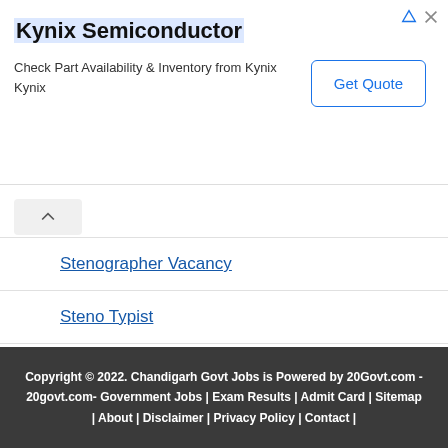[Figure (other): Kynix Semiconductor advertisement banner with 'Get Quote' button and triangle/close icons]
Stenographer Vacancy
Steno Typist
Fireman Vacancy
Copyright © 2022. Chandigarh Govt Jobs is Powered by 20Govt.com - 20govt.com- Government Jobs | Exam Results | Admit Card | Sitemap | About | Disclaimer | Privacy Policy | Contact |